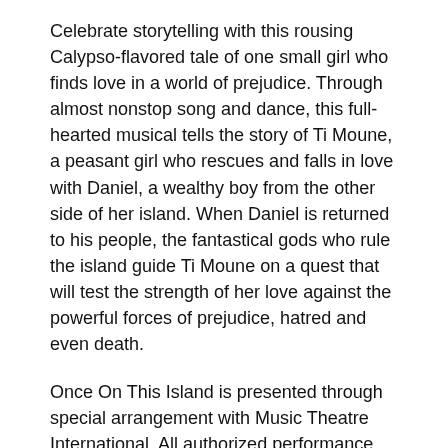Celebrate storytelling with this rousing Calypso-flavored tale of one small girl who finds love in a world of prejudice. Through almost nonstop song and dance, this full-hearted musical tells the story of Ti Moune, a peasant girl who rescues and falls in love with Daniel, a wealthy boy from the other side of her island. When Daniel is returned to his people, the fantastical gods who rule the island guide Ti Moune on a quest that will test the strength of her love against the powerful forces of prejudice, hatred and even death.
Once On This Island is presented through special arrangement with Music Theatre International. All authorized performance materials are also supplied by MTI (www.mtishows.com).
Once On This Island performance schedule:
June 10, 11 8 p.m.
June 12 3 p.m.
June 17, 18 8 p.m.